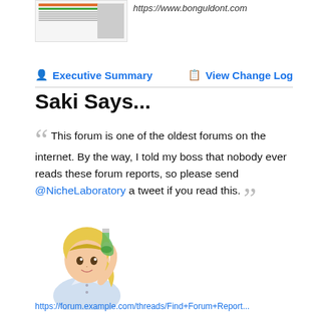[Figure (screenshot): Thumbnail screenshot of a webpage]
https://www.bonguldont.com
Executive Summary   View Change Log
Saki Says...
" This forum is one of the oldest forums on the internet. By the way, I told my boss that nobody ever reads these forum reports, so please send @NicheLaboratory a tweet if you read this. "
[Figure (illustration): Anime-style illustration of a blonde girl in a lab coat holding a green flask (Saki mascot character)]
https://forum.example.com/threads/Find+Forum+Report...